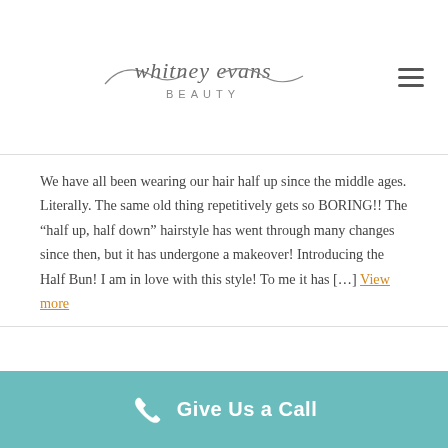Whitney Evans Beauty
We have all been wearing our hair half up since the middle ages. Literally. The same old thing repetitively gets so BORING!! The “half up, half down” hairstyle has went through many changes since then, but it has undergone a makeover! Introducing the Half Bun! I am in love with this style! To me it has [...] View more
[Figure (photo): Side-by-side photos of a half bun hairstyle, showing the style from two angles with wavy brown hair]
Give Us a Call